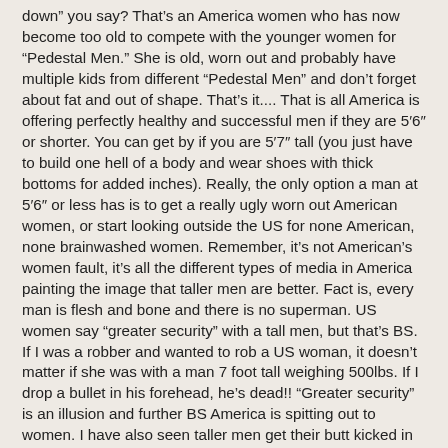down” you say? That’s an America women who has now become too old to compete with the younger women for “Pedestal Men.” She is old, worn out and probably have multiple kids from different “Pedestal Men” and don’t forget about fat and out of shape. That’s it.... That is all America is offering perfectly healthy and successful men if they are 5′6″ or shorter. You can get by if you are 5′7″ tall (you just have to build one hell of a body and wear shoes with thick bottoms for added inches). Really, the only option a man at 5′6″ or less has is to get a really ugly worn out American women, or start looking outside the US for none American, none brainwashed women. Remember, it’s not American’s women fault, it’s all the different types of media in America painting the image that taller men are better. Fact is, every man is flesh and bone and there is no superman. US women say “greater security” with a tall men, but that’s BS. If I was a robber and wanted to rob a US woman, it doesn’t matter if she was with a man 7 foot tall weighing 500lbs. If I drop a bullet in his forehead, he’s dead!! “Greater security” is an illusion and further BS America is spitting out to women. I have also seen taller men get their butt kicked in fist